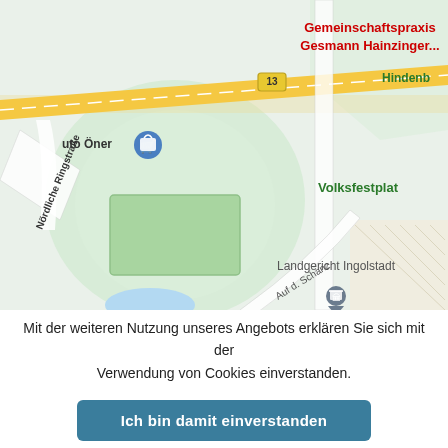[Figure (map): Google Maps screenshot showing area around Landgericht Ingolstadt, Ingolstadt, Germany. Visible landmarks include: Gemeinschaftspraxis Gesmann Hainzinger (red text, top center), Hindenburgstraße (top right, partially cut), Auto Öner with shopping bag pin (top left), road number 13 yellow highway, Nördliche Ringstraße (diagonal road, left), Volksfestplatz (right), Landgericht Ingolstadt with courthouse pin (center-right), AOK Bayern Geschäftsstelle (right), ZOB Busbahnhof Ingolstadt with location pin (bottom right), Auf d. Schanz road label (diagonal, center-lower), two blue bus stop icons (bottom center).]
Mit der weiteren Nutzung unseres Angebots erklären Sie sich mit der Verwendung von Cookies einverstanden.
Ich bin damit einverstanden